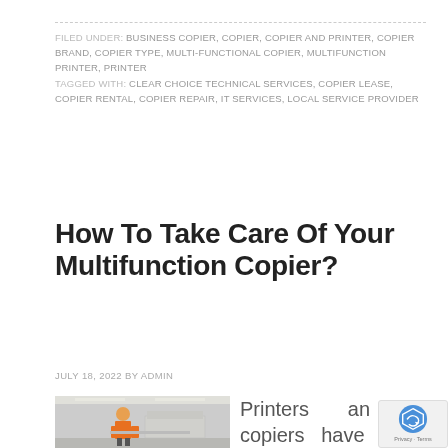FILED UNDER: BUSINESS COPIER, COPIER, COPIER AND PRINTER, COPIER BRAND, COPIER TYPE, MULTI-FUNCTIONAL COPIER, MULTIFUNCTION PRINTER, PRINTER
TAGGED WITH: CLEAR CHOICE TECHNICAL SERVICES, COPIER LEASE, COPIER RENTAL, COPIER REPAIR, IT SERVICES, LOCAL SERVICE PROVIDER
How To Take Care Of Your Multifunction Copier?
JULY 18, 2022 BY ADMIN
[Figure (photo): Person in orange shirt using a multifunction copier/printer in an office environment]
Printers and copiers have a...